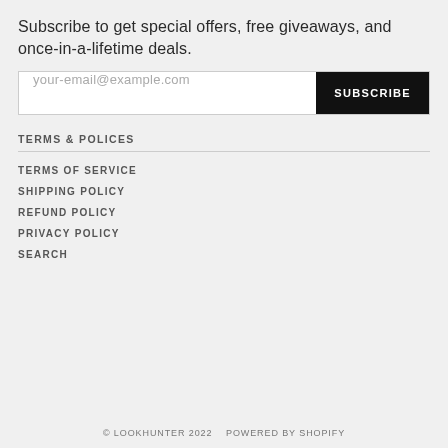Subscribe to get special offers, free giveaways, and once-in-a-lifetime deals.
your-email@example.com  SUBSCRIBE
TERMS & POLICES
TERMS OF SERVICE
SHIPPING POLICY
REFUND POLICY
PRIVACY POLICY
SEARCH
© LOOKHUNTER 2022    POWERED BY SHOPIFY